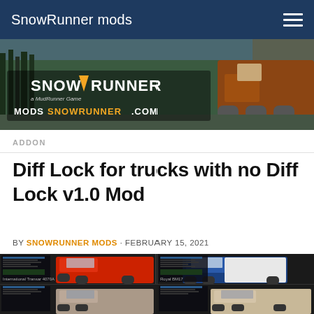SnowRunner mods
[Figure (screenshot): SnowRunner banner image showing a large orange truck on a forest road with the SNOWRUNNER logo and MODSSNOWRUNNER.COM text]
ADDON
Diff Lock for trucks with no Diff Lock v1.0 Mod
BY SNOWRUNNER MODS · FEBRUARY 15, 2021
[Figure (screenshot): In-game screenshot showing four trucks in a garage/upgrade menu: International Transtar 4070A (red) top-left, Royal BM17 (blue and white) top-right, and two more trucks partially visible in the bottom row]